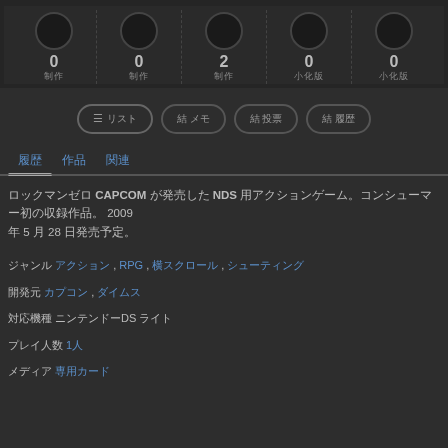[Figure (screenshot): Top stats bar with 5 columns showing icons and numbers: 0, 0, 2, 0, 0 with Japanese labels]
[Figure (screenshot): Navigation buttons row with 4 oval buttons containing Japanese text]
[Figure (screenshot): Tab row with 3 tabs in Japanese, first tab active with underline]
ロックマンゼロ CAPCOM が発売した NDS 用アクションゲーム。コンシューマー初の収録作品。 2009 年 5 月 28 日発売予定。
ジャンル アクション , RPG , 横スクロール , シューティング
開発元 カプコン , ダイムス
対応機種 ニンテンドーDS ライト
プレイ人数 1人
メディア 専用カード